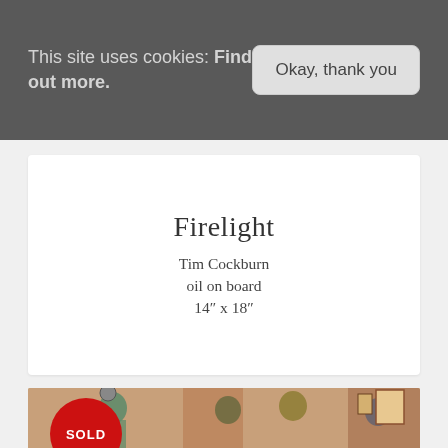This site uses cookies: Find out more.
Okay, thank you
Firelight
Tim Cockburn
oil on board
14″ x 18″
[Figure (photo): Painting of people in an interior gallery/room scene, warm tones, with a red SOLD badge overlaid in the lower-left corner.]